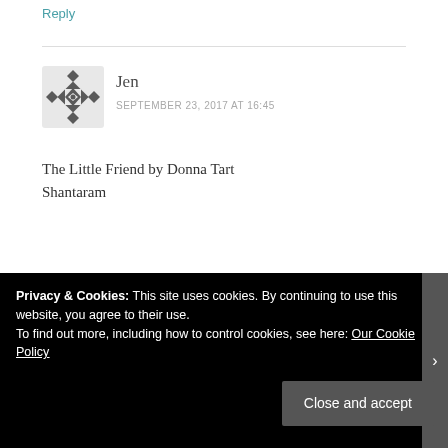Reply
Jen
SEPTEMBER 23, 2017 AT 16:45
The Little Friend by Donna Tart
Shantaram
Liked by 1 person
Reply
Privacy & Cookies: This site uses cookies. By continuing to use this website, you agree to their use.
To find out more, including how to control cookies, see here: Our Cookie Policy
Close and accept